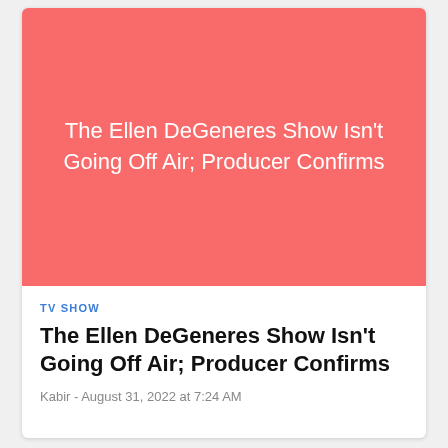[Figure (illustration): Salmon/coral-red colored rectangle with white centered text reading: The Ellen DeGeneres Show Isn't Going Off Air; Producer Confirms]
TV SHOW
The Ellen DeGeneres Show Isn't Going Off Air; Producer Confirms
Kabir  -  August 31, 2022 at 7:24 AM